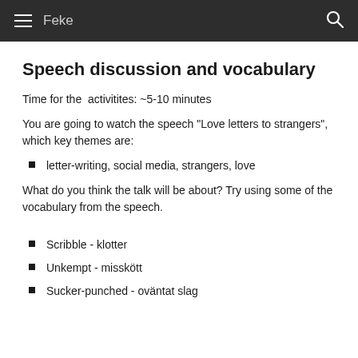Feke
Speech discussion and vocabulary
Time for the  activitites: ~5-10 minutes
You are going to watch the speech "Love letters to strangers", which key themes are:
letter-writing, social media, strangers, love
What do you think the talk will be about? Try using some of the vocabulary from the speech.
Scribble - klotter
Unkempt - misskött
Sucker-punched - oväntat slag